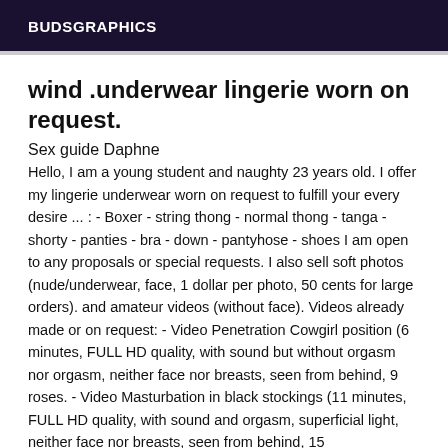BUDSGRAPHICS
wind .underwear lingerie worn on request.
Sex guide Daphne
Hello, I am a young student and naughty 23 years old. I offer my lingerie underwear worn on request to fulfill your every desire ... : - Boxer - string thong - normal thong - tanga - shorty - panties - bra - down - pantyhose - shoes I am open to any proposals or special requests. I also sell soft photos (nude/underwear, face, 1 dollar per photo, 50 cents for large orders). and amateur videos (without face). Videos already made or on request: - Video Penetration Cowgirl position (6 minutes, FULL HD quality, with sound but without orgasm nor orgasm, neither face nor breasts, seen from behind, 9 roses. - Video Masturbation in black stockings (11 minutes, FULL HD quality, with sound and orgasm, superficial light, neither face nor breasts, seen from behind, 15